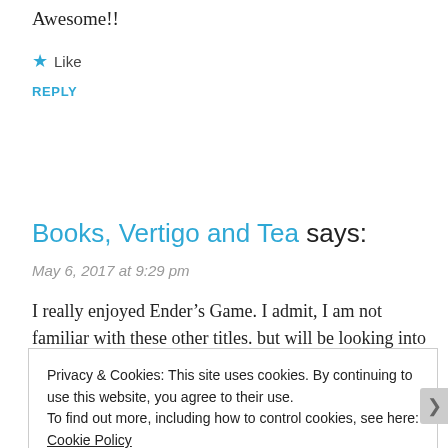Awesome!!
★ Like
REPLY
Books, Vertigo and Tea says:
May 6, 2017 at 9:29 pm
I really enjoyed Ender's Game. I admit, I am not familiar with these other titles. but will be looking into The Bluest Eye and
Privacy & Cookies: This site uses cookies. By continuing to use this website, you agree to their use.
To find out more, including how to control cookies, see here:
Cookie Policy
Close and accept